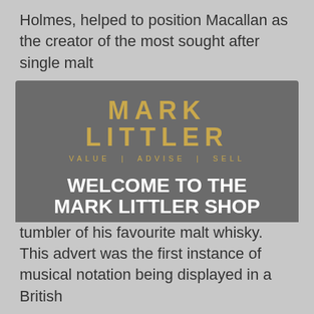Holmes, helped to position Macallan as the creator of the most sought after single malt
[Figure (screenshot): Age verification modal popup for Mark Littler whisky shop. Contains logo 'MARK LITTLER' with tagline 'VALUE | ADVISE | SELL', heading 'WELCOME TO THE MARK LITTLER SHOP', subheading 'ARE YOU OF LEGAL DRINKING AGE IN YOUR COUNTRY?', a gold button 'YES, I AM OF LEGAL DRINKING AGE', and a dark button 'NO, I AM NOT OF LEGAL DRINKING AGE'.]
tumbler of his favourite malt whisky. This advert was the first instance of musical notation being displayed in a British